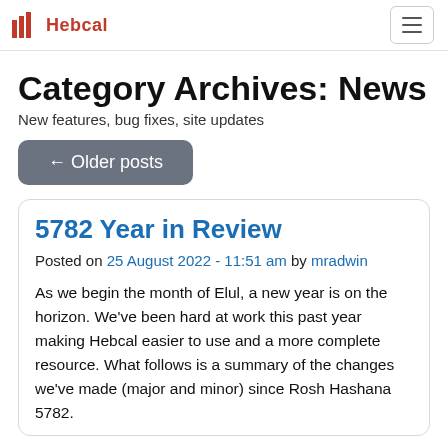Hebcal
Category Archives: News
New features, bug fixes, site updates
← Older posts
5782 Year in Review
Posted on 25 August 2022 - 11:51 am by mradwin
As we begin the month of Elul, a new year is on the horizon. We've been hard at work this past year making Hebcal easier to use and a more complete resource. What follows is a summary of the changes we've made (major and minor) since Rosh Hashana 5782.